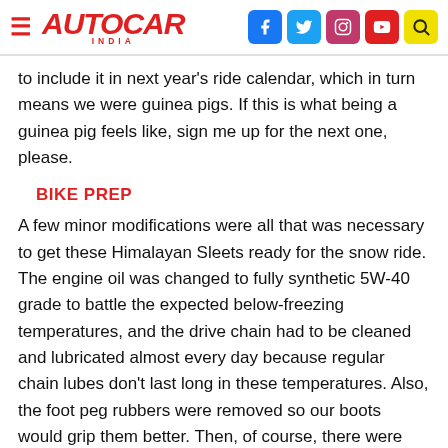AUTOCAR INDIA
to include it in next year's ride calendar, which in turn means we were guinea pigs. If this is what being a guinea pig feels like, sign me up for the next one, please.
BIKE PREP
A few minor modifications were all that was necessary to get these Himalayan Sleets ready for the snow ride. The engine oil was changed to fully synthetic 5W-40 grade to battle the expected below-freezing temperatures, and the drive chain had to be cleaned and lubricated almost every day because regular chain lubes don't last long in these temperatures. Also, the foot peg rubbers were removed so our boots would grip them better. Then, of course, there were the Mizuno snow chains without which traversing the snow and ice stretches would have been